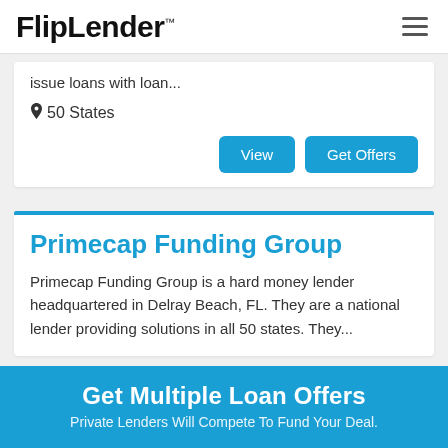FlipLender™
issue loans with loan...
📍 50 States
View | Get Offers
Primecap Funding Group
Primecap Funding Group is a hard money lender headquartered in Delray Beach, FL. They are a national lender providing solutions in all 50 states. They...
Get Multiple Loan Offers
Private Lenders Will Compete To Fund Your Deal.